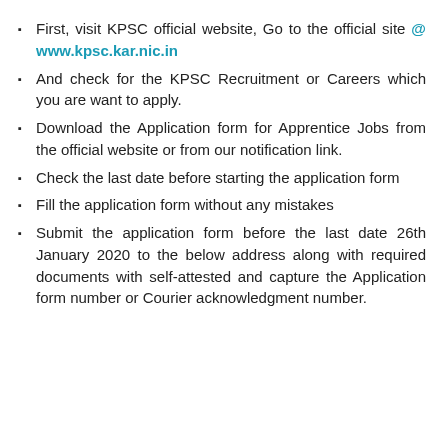First, visit KPSC official website, Go to the official site @ www.kpsc.kar.nic.in
And check for the KPSC Recruitment or Careers which you are want to apply.
Download the Application form for Apprentice Jobs from the official website or from our notification link.
Check the last date before starting the application form
Fill the application form without any mistakes
Submit the application form before the last date 26th January 2020 to the below address along with required documents with self-attested and capture the Application form number or Courier acknowledgment number.